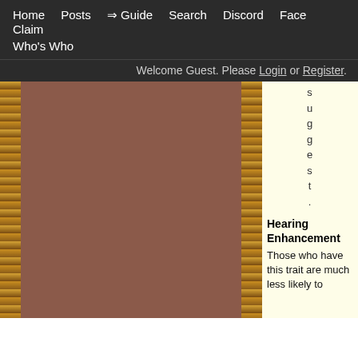Home  Posts  ⇒ Guide  Search  Discord  Face Claim  Who's Who
Welcome Guest. Please Login or Register.
[Figure (illustration): Brown textured background panel with decorative golden wave/fan pattern borders on left and right sides.]
suggest.
Hearing Enhancement
Those who have this trait are much less likely to